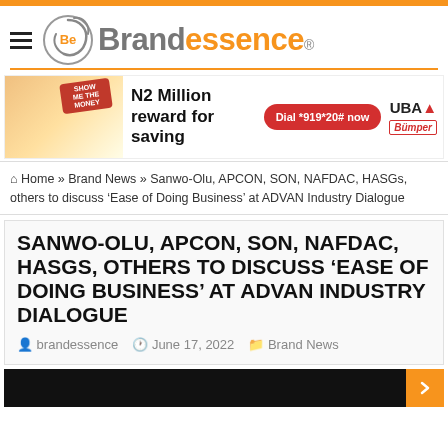Brandessence
[Figure (infographic): UBA Bank N2 Million reward for saving advertisement banner with woman on phone, red button 'Dial *919*20# now', UBA and Bumper logos]
Home » Brand News » Sanwo-Olu, APCON, SON, NAFDAC, HASGs, others to discuss 'Ease of Doing Business' at ADVAN Industry Dialogue
SANWO-OLU, APCON, SON, NAFDAC, HASGS, OTHERS TO DISCUSS 'EASE OF DOING BUSINESS' AT ADVAN INDUSTRY DIALOGUE
brandessence   June 17, 2022   Brand News